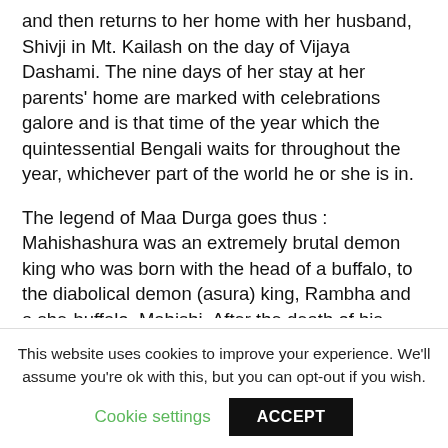and then returns to her home with her husband, Shivji in Mt. Kailash on the day of Vijaya Dashami. The nine days of her stay at her parents' home are marked with celebrations galore and is that time of the year which the quintessential Bengali waits for throughout the year, whichever part of the world he or she is in.
The legend of Maa Durga goes thus : Mahishashura was an extremely brutal demon king who was born with the head of a buffalo, to the diabolical demon (asura) king, Rambha and a she-buffalo, Mahishi. After the death of his father, Rambha, he inherited his kingdom. Being over-ambitious, his intense desire was to rule over all the
This website uses cookies to improve your experience. We'll assume you're ok with this, but you can opt-out if you wish.
Cookie settings  ACCEPT